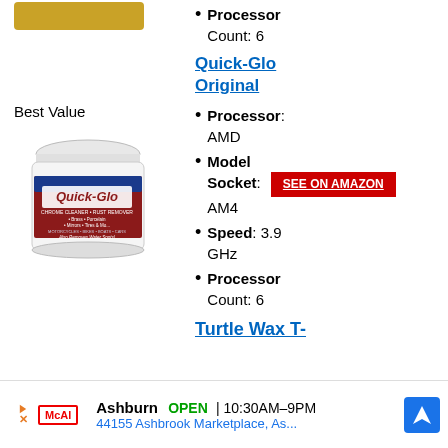Processor Count: 6
Quick-Glo Original
Best Value
[Figure (photo): Quick-Glo Original chrome cleaner and rust remover product jar with white lid]
Processor: AMD
Model Socket: AM4
Speed: 3.9 GHz
Processor Count: 6
Turtle Wax T-
Ashburn  OPEN  10:30AM–9PM  44155 Ashbrook Marketplace, As...